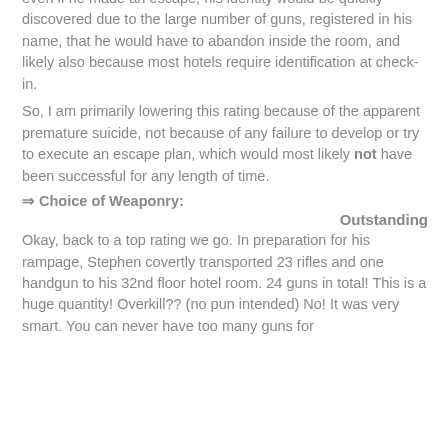even if he made an escape, his identity would be quickly discovered due to the large number of guns, registered in his name, that he would have to abandon inside the room, and likely also because most hotels require identification at check-in.
So, I am primarily lowering this rating because of the apparent premature suicide, not because of any failure to develop or try to execute an escape plan, which would most likely not have been successful for any length of time.
⇒ Choice of Weaponry:
Outstanding
Okay, back to a top rating we go. In preparation for his rampage, Stephen covertly transported 23 rifles and one handgun to his 32nd floor hotel room. 24 guns in total! This is a huge quantity! Overkill?? (no pun intended) No! It was very smart. You can never have too many guns for